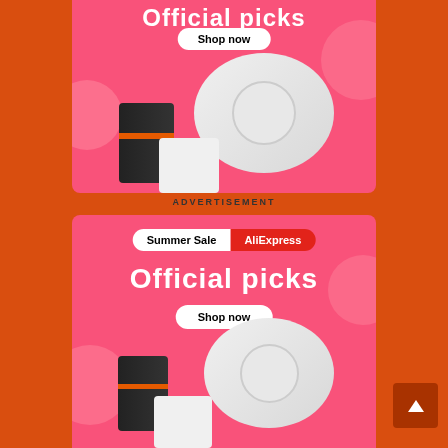[Figure (illustration): Top AliExpress Summer Sale advertisement banner with pink background, showing 'Official picks' text, 'Shop now' button, robotic vacuum cleaner and gaming console products]
ADVERTISEMENT
[Figure (illustration): Bottom AliExpress Summer Sale advertisement banner with pink background, showing 'Summer Sale AliExpress' badge, 'Official picks' text, 'Shop now' button, robotic vacuum cleaner and gaming console products]
[Figure (illustration): Scroll to top button (dark orange rounded square with upward arrow)]